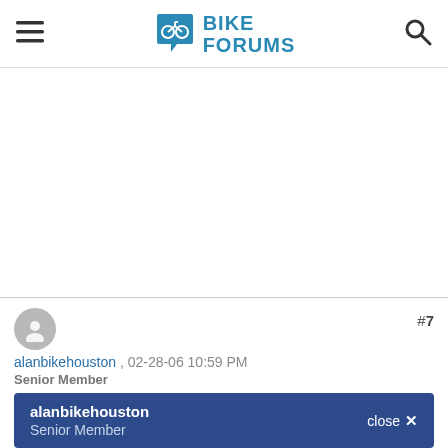Bike Forums
[Figure (other): Empty white advertisement/content area]
alanbikehouston , 02-28-06 10:59 PM
Senior Member
#7
alanbikehouston Senior Member close ✕
[Figure (other): Large circular user avatar placeholder]